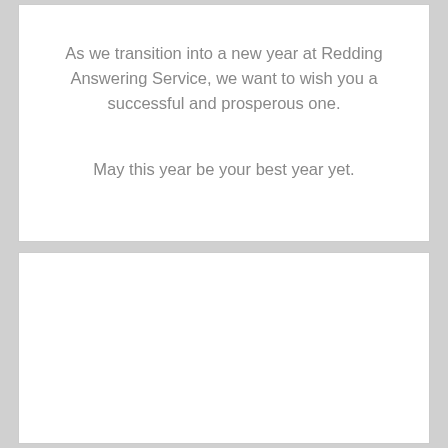As we transition into a new year at Redding Answering Service, we want to wish you a successful and prosperous one.
May this year be your best year yet.